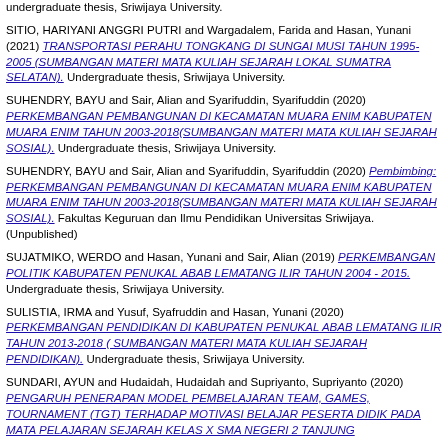undergraduate thesis, Sriwijaya University.
SITIO, HARIYANI ANGGRI PUTRI and Wargadalem, Farida and Hasan, Yunani (2021) TRANSPORTASI PERAHU TONGKANG DI SUNGAI MUSI TAHUN 1995-2005 (SUMBANGAN MATERI MATA KULIAH SEJARAH LOKAL SUMATRA SELATAN). Undergraduate thesis, Sriwijaya University.
SUHENDRY, BAYU and Sair, Alian and Syarifuddin, Syarifuddin (2020) PERKEMBANGAN PEMBANGUNAN DI KECAMATAN MUARA ENIM KABUPATEN MUARA ENIM TAHUN 2003-2018(SUMBANGAN MATERI MATA KULIAH SEJARAH SOSIAL). Undergraduate thesis, Sriwijaya University.
SUHENDRY, BAYU and Sair, Alian and Syarifuddin, Syarifuddin (2020) Pembimbing: PERKEMBANGAN PEMBANGUNAN DI KECAMATAN MUARA ENIM KABUPATEN MUARA ENIM TAHUN 2003-2018(SUMBANGAN MATERI MATA KULIAH SEJARAH SOSIAL). Fakultas Keguruan dan Ilmu Pendidikan Universitas Sriwijaya. (Unpublished)
SUJATMIKO, WERDO and Hasan, Yunani and Sair, Alian (2019) PERKEMBANGAN POLITIK KABUPATEN PENUKAL ABAB LEMATANG ILIR TAHUN 2004 - 2015. Undergraduate thesis, Sriwijaya University.
SULISTIA, IRMA and Yusuf, Syafruddin and Hasan, Yunani (2020) PERKEMBANGAN PENDIDIKAN DI KABUPATEN PENUKAL ABAB LEMATANG ILIR TAHUN 2013-2018 ( SUMBANGAN MATERI MATA KULIAH SEJARAH PENDIDIKAN). Undergraduate thesis, Sriwijaya University.
SUNDARI, AYUN and Hudaidah, Hudaidah and Supriyanto, Supriyanto (2020) PENGARUH PENERAPAN MODEL PEMBELAJARAN TEAM, GAMES, TOURNAMENT (TGT) TERHADAP MOTIVASI BELAJAR PESERTA DIDIK PADA MATA PELAJARAN SEJARAH KELAS X SMA NEGERI 2 TANJUNG